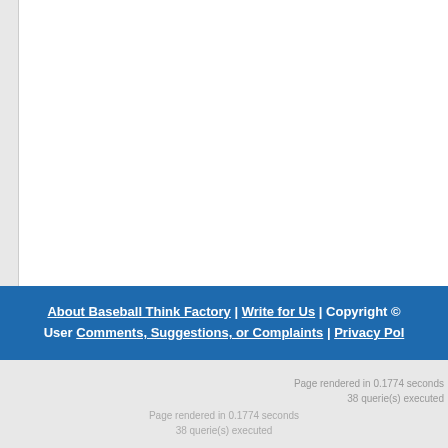About Baseball Think Factory | Write for Us | Copyright © | User Comments, Suggestions, or Complaints | Privacy Pol
Page rendered in 0.1774 seconds
38 querie(s) executed
Page rendered in 0.1774 seconds
38 querie(s) executed